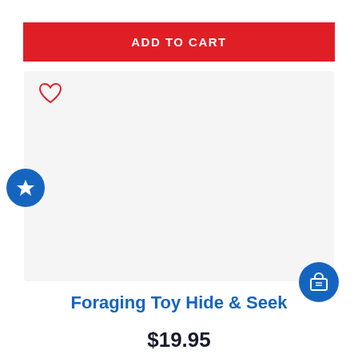ADD TO CART
[Figure (screenshot): Product image placeholder area with light gray background, heart/wishlist icon top-left, blue star badge on left side]
Foraging Toy Hide & Seek
$19.95
[Figure (other): Red button partially visible at bottom]